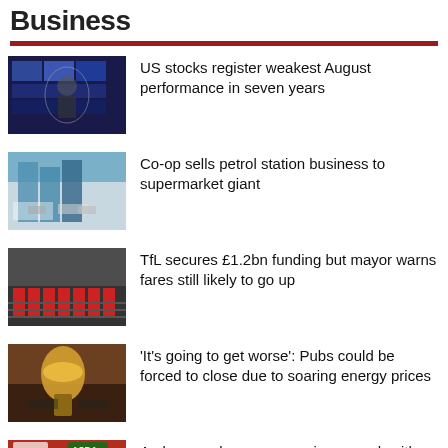Business
US stocks register weakest August performance in seven years
Co-op sells petrol station business to supermarket giant
TfL secures £1.2bn funding but mayor warns fares still likely to go up
'It's going to get worse': Pubs could be forced to close due to soaring energy prices
Asda eyes deeper convenience push with